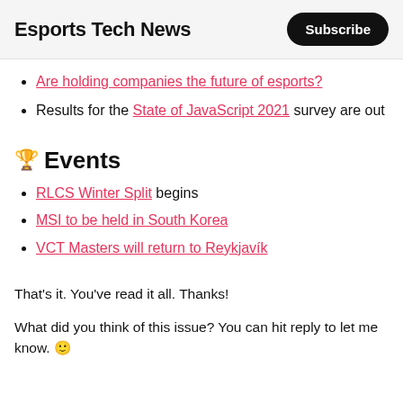Esports Tech News | Subscribe
Are holding companies the future of esports?
Results for the State of JavaScript 2021 survey are out
🏆 Events
RLCS Winter Split begins
MSI to be held in South Korea
VCT Masters will return to Reykjavík
That's it. You've read it all. Thanks!
What did you think of this issue? You can hit reply to let me know. 🙂